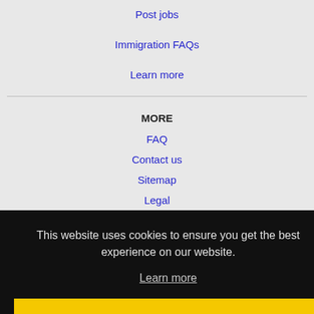Post jobs
Immigration FAQs
Learn more
MORE
FAQ
Contact us
Sitemap
Legal
Privacy
This website uses cookies to ensure you get the best experience on our website.
Learn more
Got it!
NEARBY CITIES
Arlington, MA Jobs
Aspen Hill, MD Jobs